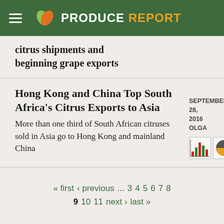PRODUCE REPORT
citrus shipments and beginning grape exports
Hong Kong and China Top South Africa's Citrus Exports to Asia
More than one third of South African citruses sold in Asia go to Hong Kong and mainland China
SEPTEMBER 28, 2016
OLGA
[Figure (other): Small thumbnail charts showing bar chart and pie chart]
« first ‹ previous ... 3 4 5 6 7 8 9 10 11 next › last »